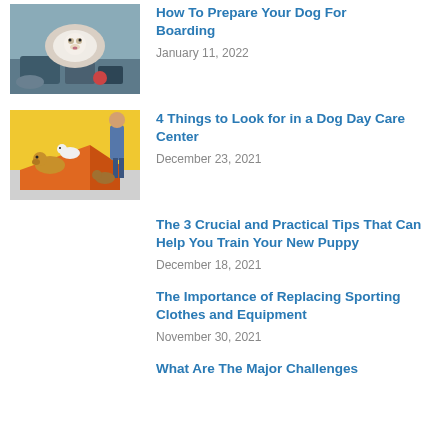[Figure (photo): Dog in a travel carrier bag with luggage around it]
How To Prepare Your Dog For Boarding
January 11, 2022
[Figure (photo): Dogs playing on orange ramp in a dog day care center with a person standing in the background]
4 Things to Look for in a Dog Day Care Center
December 23, 2021
The 3 Crucial and Practical Tips That Can Help You Train Your New Puppy
December 18, 2021
The Importance of Replacing Sporting Clothes and Equipment
November 30, 2021
What Are The Major Challenges